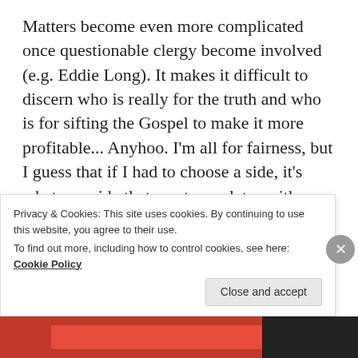Matters become even more complicated once questionable clergy become involved (e.g. Eddie Long). It makes it difficult to discern who is really for the truth and who is for sifting the Gospel to make it more profitable... Anyhoo. I'm all for fairness, but I guess that if I had to choose a side, it's whatever side that most correlates with my religious beliefs. I feel that ultimately it becomes an issue of whether or not I have to compromise my faith in order to appease a social group, and I'm just not there yet... I'm receiving advice from all kinds of people with all kinds of political views, but I have yet to be swayed
Privacy & Cookies: This site uses cookies. By continuing to use this website, you agree to their use.
To find out more, including how to control cookies, see here: Cookie Policy